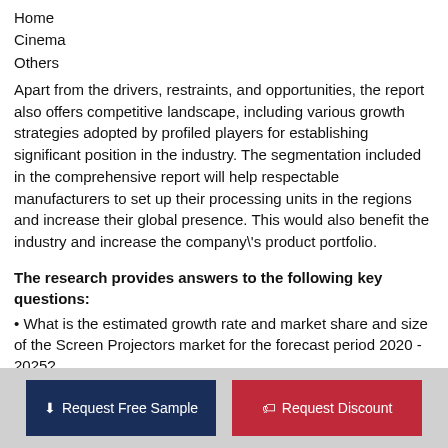Home
Cinema
Others
Apart from the drivers, restraints, and opportunities, the report also offers competitive landscape, including various growth strategies adopted by profiled players for establishing significant position in the industry. The segmentation included in the comprehensive report will help respectable manufacturers to set up their processing units in the regions and increase their global presence. This would also benefit the industry and increase the company\'s product portfolio.
The research provides answers to the following key questions:
• What is the estimated growth rate and market share and size of the Screen Projectors market for the forecast period 2020 - 2025?
• What are the driving forces in the Screen Projectors market for the forecast period 2020 - 2025?
• What are the major market trends shaping the growth of the...